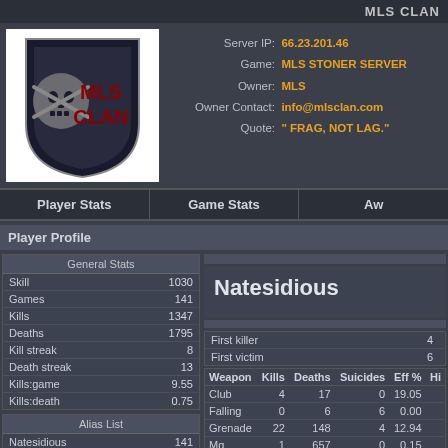MLS CLAN
[Figure (logo): MLS CLAN logo: shield with skull and crossbones, red text MLS CLAN on white background]
Server IP: 66.23.201.46
Game: MLS STONER SERVER
Owner: MLS
Owner Contact: info@mlsclan.com
Quote: " FRAG, NOT LAG."
Player Stats
Game Stats
Aw
Player Profile
| General Stats |  |
| --- | --- |
| Skill | 1030 |
| Games | 141 |
| Kills | 1347 |
| Deaths | 1795 |
| Kill streak | 8 |
| Death streak | 13 |
| Kills:game | 9.55 |
| Kills:death | 0.75 |
Natesidious
|  |  |
| --- | --- |
| First killer | 4 |
| First victim | 6 |
| Weapon | Kills | Deaths | Suicides | Eff % | Hi |
| --- | --- | --- | --- | --- | --- |
| Club | 4 | 17 | 0 | 19.05 |  |
| Falling | 0 | 6 | 6 | 0.00 |  |
| Grenade | 22 | 148 | 4 | 12.94 |  |
| Mg | 1 | 657 | 0 | 0.15 |  |
| Mine | 0 | 1 | 1 | 0.00 |  |
| Alias List |  |
| --- | --- |
| Natesidious | 141 |
GUIDs
IPs